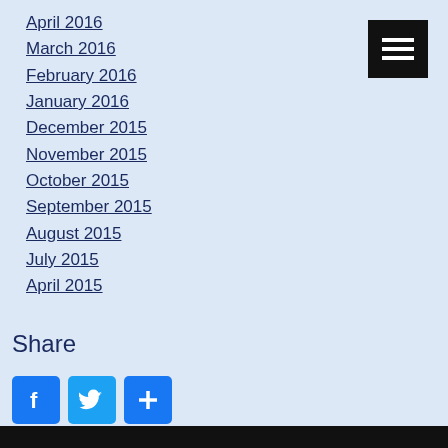April 2016
March 2016
February 2016
January 2016
December 2015
November 2015
October 2015
September 2015
August 2015
July 2015
April 2015
Share
[Figure (other): Social share buttons: Facebook, Twitter, and a plus/more button]